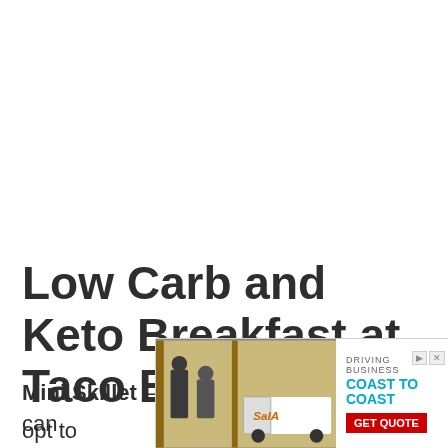Low Carb and Keto Breakfast at Taco Bell
Mini Skillet – order with no potatoes. You can opt to ... which will ad... ever it
[Figure (other): Advertisement banner for SAIA trucking company with text 'DRIVING BUSINESS COAST TO COAST' and a GET QUOTE button, partially overlaying the article text.]